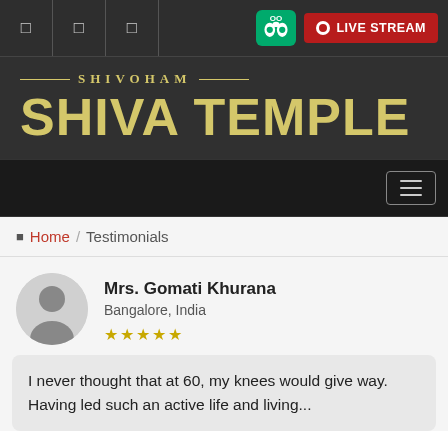Top navigation bar with icons and Live Stream button
SHIVOHAM SHIVA TEMPLE
[Figure (screenshot): Dark navigation menu bar with hamburger icon]
Home / Testimonials
Mrs. Gomati Khurana
Bangalore, India
★★★★★
I never thought that at 60, my knees would give way. Having led such an active life and living...